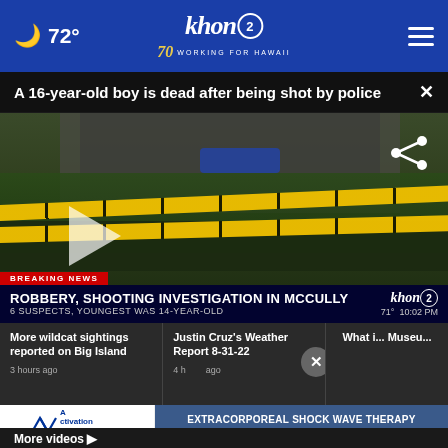72° khon2 WORKING FOR HAWAII 70 years
A 16-year-old boy is dead after being shot by police
[Figure (screenshot): Video thumbnail of a crime scene with police tape and officers, lower third reads BREAKING NEWS: ROBBERY, SHOOTING INVESTIGATION IN MCCULLY, 6 SUSPECTS, YOUNGEST WAS 14-YEAR-OLD, 71° 10:02 PM, khon2 logo]
More wildcat sightings reported on Big Island
3 hours ago
Justin Cruz's Weather Report 8-31-22
4 hours ago
What i... Museu...
[Figure (infographic): Advertisement: Activation Clinic - EXTRACORPOREAL SHOCK WAVE THERAPY No Downtime • No Drugs or Surgery]
More videos ▶